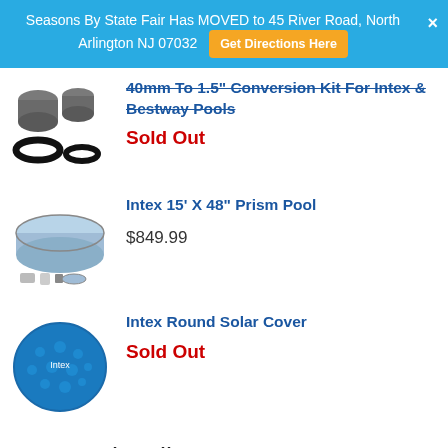Seasons By State Fair Has MOVED to 45 River Road, North Arlington NJ 07032  Get Directions Here  ×
40mm To 1.5" Conversion Kit For Intex & Bestway Pools
Sold Out
Intex 15' X 48" Prism Pool
$849.99
Intex Round Solar Cover
Sold Out
Featured Halloween
Wild Wolfie Girl's Costume